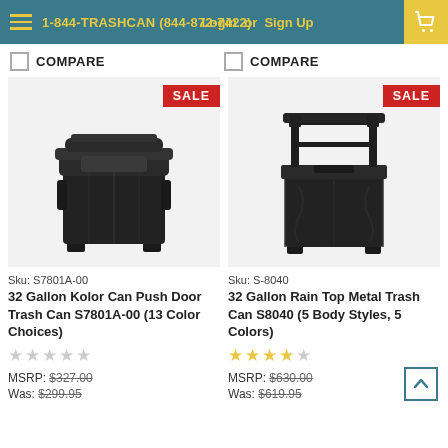1-844-TRASHCAN (844-872-7422) | Login or Sign Up
COMPARE | COMPARE
[Figure (photo): 32 Gallon Kolor Can Push Door Trash Can product photo, black color, with red SALE badge]
[Figure (photo): 32 Gallon Rain Top Metal Trash Can product photo, black color, with red SALE badge]
Sku: S7801A-00
Sku: S-8040
32 Gallon Kolor Can Push Door Trash Can S7801A-00 (13 Color Choices)
32 Gallon Rain Top Metal Trash Can S8040 (5 Body Styles, 5 Colors)
★★★★★ (0 stars)
★★★★☆ (4 stars)
MSRP: $327.00
Was: $299.95
MSRP: $630.00
Was: $619.95